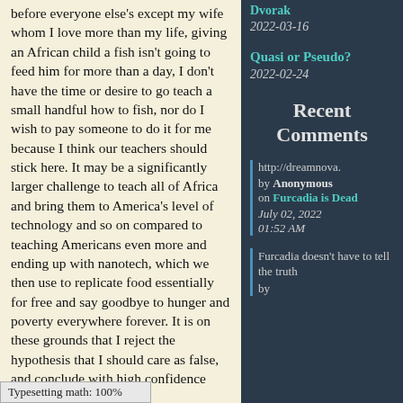before everyone else's except my wife whom I love more than my life, giving an African child a fish isn't going to feed him for more than a day, I don't have the time or desire to go teach a small handful how to fish, nor do I wish to pay someone to do it for me because I think our teachers should stick here. It may be a significantly larger challenge to teach all of Africa and bring them to America's level of technology and so on compared to teaching Americans even more and ending up with nanotech, which we then use to replicate food essentially for free and say goodbye to hunger and poverty everywhere forever. It is on these grounds that I reject the hypothesis that I should care as false, and conclude with high confidence that I shouldn't care."

"...But what about helping your fellow man?"
Typesetting math: 100%
Dvorak
2022-03-16
Quasi or Pseudo?
2022-02-24
Recent Comments
http://dreamnova. by Anonymous on Furcadia is Dead July 02, 2022 01:52 AM
Furcadia doesn't have to tell the truth by